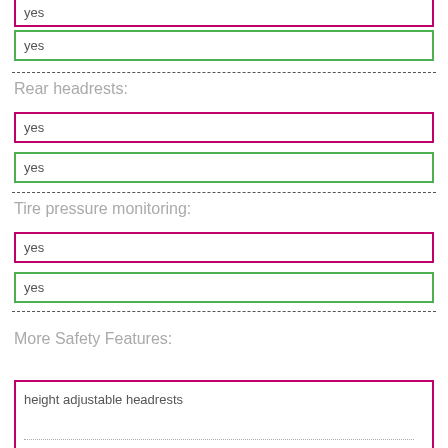yes
yes
Rear headrests:
yes
yes
Tire pressure monitoring:
yes
yes
More Safety Features:
height adjustable headrests